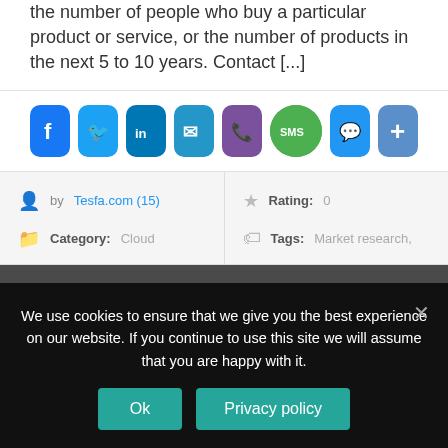the number of people who buy a particular product or service, or the number of products in the next 5 to 10 years. Contact [...]
[Figure (infographic): Row of social sharing icons: Facebook, Twitter, LinkedIn, Email, Viber, SMS, Messenger, Share/Plus]
| by Tesfa.com (15) | Rating: 0 |
| Category: Cloud | Tags: Market research, |
$1,200
We use cookies to ensure that we give you the best experience on our website. If you continue to use this site we will assume that you are happy with it.